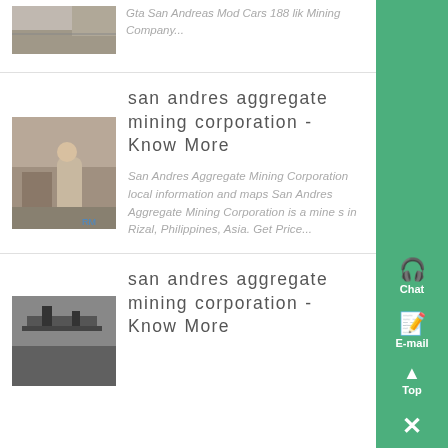Gta San Andreas Mod Cars 188 lik Mining Company...
san andres aggregate mining corporation - Know More
San Andres Aggregate Mining Corporation local information and maps San Andres Aggregate Mining Corporation is a mine s in Rizal, Philippines, Asia. Get Price...
san andres aggregate mining corporation - Know More